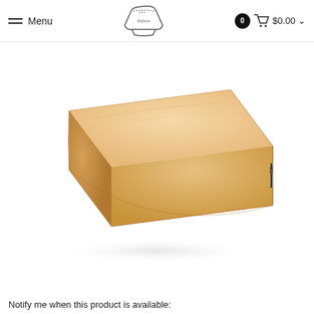Menu | Pillow logo | 0 cart $0.00
[Figure (photo): A rectangular beige/cream-colored pillow or cushion photographed at an angle on a white background, showing its top, front face, and right side. The pillow has a zippered enclosure visible on the right side.]
Notify me when this product is available: